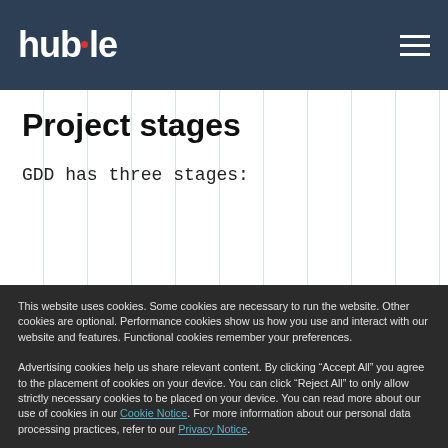huble
Project stages
GDD has three stages:
This website uses cookies. Some cookies are necessary to run the website. Other cookies are optional. Performance cookies show us how you use and interact with our website and features. Functional cookies remember your preferences.

Advertising cookies help us share relevant content. By clicking “Accept All” you agree to the placement of cookies on your device. You can click “Reject All” to only allow strictly necessary cookies to be placed on your device. You can read more about our use of cookies in our Cookie Notice. For more information about our personal data processing practices, refer to our Privacy Notice.

If you decline, your information won’t be tracked when you visit this website. A single cookie will be used in your browser to remember your preference not to be tracked.
Cookies settings
Accept All
Decline All